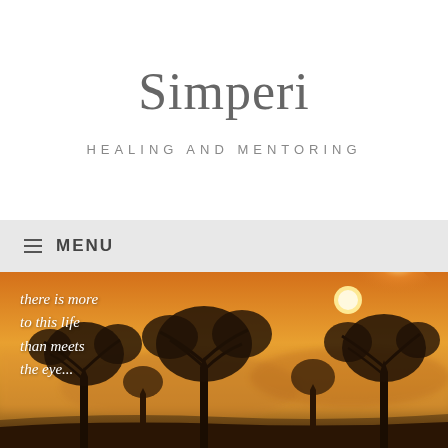Simperi
HEALING AND MENTORING
≡  MENU
[Figure (photo): Atmospheric golden-hour landscape with silhouetted trees in misty warm amber light, with text overlay: 'there is more to this life than meets the eye...']
there is more to this life than meets the eye...